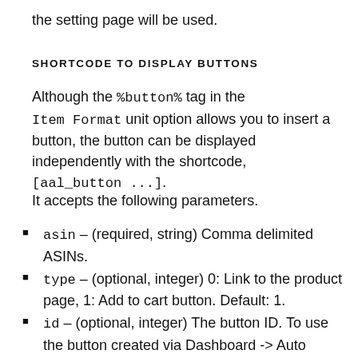the setting page will be used.
SHORTCODE TO DISPLAY BUTTONS
Although the %button% tag in the Item Format unit option allows you to insert a button, the button can be displayed independently with the shortcode, [aal_button ...].
It accepts the following parameters.
asin – (required, string) Comma delimited ASINs.
type – (optional, integer) 0: Link to the product page, 1: Add to cart button. Default: 1.
id – (optional, integer) The button ID. To use the button created via Dashboard -> Auto Amazon Links -> Manage Buttons, specify the button ID.
quantity – (optional, integer) The quantity of the item to add to cart. When multiple ASINs are specified, separate the values by commas.